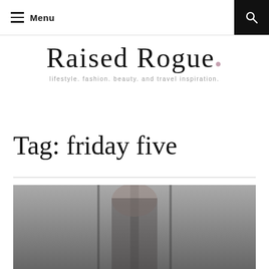Menu
[Figure (logo): Raised Rogue logo in handwritten script with tagline: lifestyle. fashion. beauty. and travel inspiration.]
Tag: friday five
[Figure (photo): Fashion photo of a woman, partially visible at bottom of page]